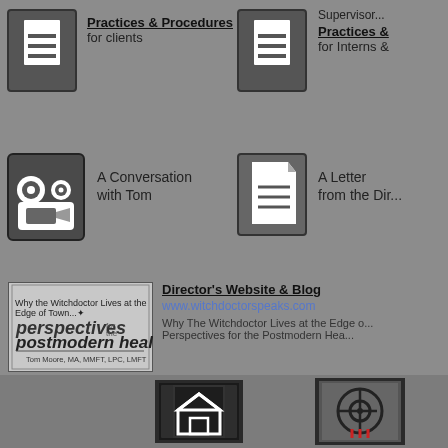[Figure (illustration): Document icon - Practices & Procedures for clients]
Practices & Procedures
for clients
[Figure (illustration): Document icon - Supervisor Practices & for Interns &]
Supervisor...
Practices &
for Interns &
[Figure (illustration): Video camera icon - A Conversation with Tom]
A Conversation
with Tom
[Figure (illustration): Document icon - A Letter from the Director]
A Letter
from the Dir...
[Figure (illustration): Book cover: Why the Witchdoctor Lives at the Edge of Town - perspectives for the postmodern healer - Tom Moore, MA, MMFT, LPC, LMFT]
Director's Website & Blog
www.witchdoctorspeaks.com
Why The Witchdoctor Lives at the Edge o...
Perspectives for the Postmodern Hea...
[Figure (illustration): Home icon in rough black border frame]
[Figure (illustration): Target/crosshair icon with red lines in rough black border frame]